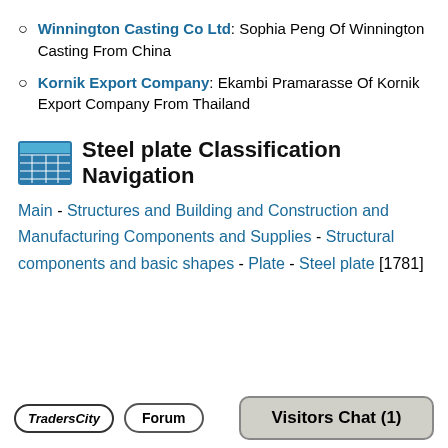Winnington Casting Co Ltd: Sophia Peng Of Winnington Casting From China
Kornik Export Company: Ekambi Pramarasse Of Kornik Export Company From Thailand
Steel plate Classification Navigation
Main - Structures and Building and Construction and Manufacturing Components and Supplies - Structural components and basic shapes - Plate - Steel plate [1781]
TradersCity | Forum | Visitors Chat (1)